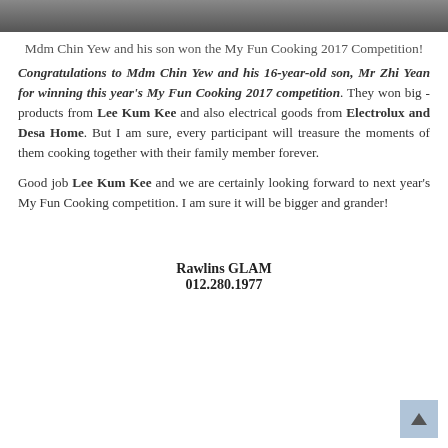[Figure (photo): Partial photo of people at a cooking competition, showing lower portion of image]
Mdm Chin Yew and his son won the My Fun Cooking 2017 Competition!
Congratulations to Mdm Chin Yew and his 16-year-old son, Mr Zhi Yean for winning this year's My Fun Cooking 2017 competition. They won big - products from Lee Kum Kee and also electrical goods from Electrolux and Desa Home. But I am sure, every participant will treasure the moments of them cooking together with their family member forever.

Good job Lee Kum Kee and we are certainly looking forward to next year's My Fun Cooking competition. I am sure it will be bigger and grander!
Rawlins GLAM
012.280.1977